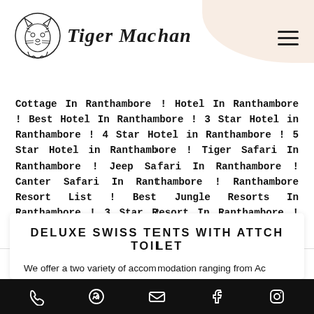Tiger Machan
Cottage In Ranthambore ! Hotel In Ranthambore ! Best Hotel In Ranthambore ! 3 Star Hotel in Ranthambore ! 4 Star Hotel in Ranthambore ! 5 Star Hotel in Ranthambore ! Tiger Safari In Ranthambore ! Jeep Safari In Ranthambore ! Canter Safari In Ranthambore ! Ranthambore Resort List ! Best Jungle Resorts In Ranthambore ! 3 Star Resort In Ranthambore ! Ranthambore National Park Safari Booking
DELUXE SWISS TENTS WITH ATTCH TOILET
We offer a two variety of accommodation ranging from Ac Deluxe Swiss Tents with Attach Toilet and Ac Luxury Matchan Tents with attach toilet that will suite every budget. So stay with us and enjoy the royal Ranjit...